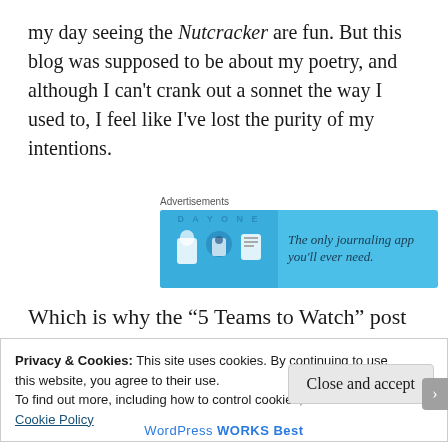my day seeing the Nutcracker are fun. But this blog was supposed to be about my poetry, and although I can't crank out a sonnet the way I used to, I feel like I've lost the purity of my intentions.
Advertisements
[Figure (illustration): Day One journaling app advertisement banner with blue background, app icons on left, and text 'The only journaling app you'll ever need.' on right]
Which is why the “5 Teams to Watch” post
Privacy & Cookies: This site uses cookies. By continuing to use this website, you agree to their use.
To find out more, including how to control cookies, see here: Cookie Policy
Close and accept
WordPress Works Best